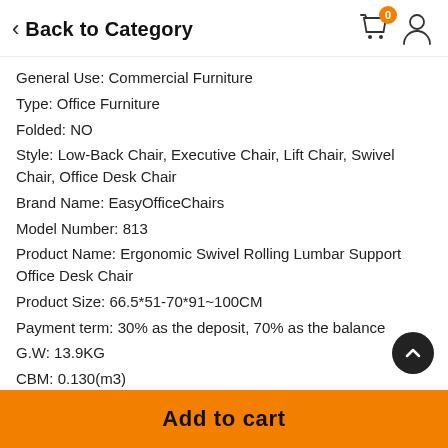Back to Category
General Use: Commercial Furniture
Type: Office Furniture
Folded: NO
Style: Low-Back Chair, Executive Chair, Lift Chair, Swivel Chair, Office Desk Chair
Brand Name: EasyOfficeChairs
Model Number: 813
Product Name: Ergonomic Swivel Rolling Lumbar Support Office Desk Chair
Product Size: 66.5*51-70*91~100CM
Payment term: 30% as the deposit, 70% as the balance
G.W: 13.9KG
CBM: 0.130(m3)
20HQ: 200
40HQ: 500
Add to cart